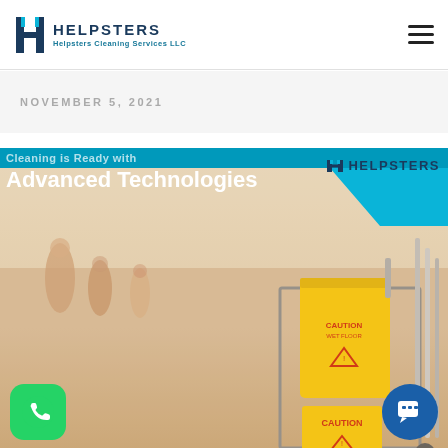HELPSTERS — Helpsters Cleaning Services LLC
NOVEMBER 5, 2021
[Figure (photo): Banner image with text 'Cleaning is Ready with Advanced Technologies' and HELPSTERS logo over photo of janitorial cleaning cart with yellow caution wet floor signs in a shopping mall corridor with blurred people walking in background. WhatsApp button and chat button visible at bottom corners.]